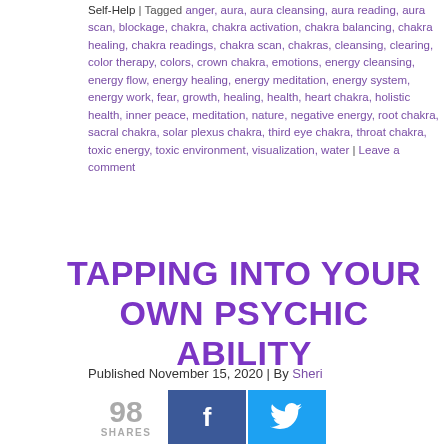Self-Help | Tagged anger, aura, aura cleansing, aura reading, aura scan, blockage, chakra, chakra activation, chakra balancing, chakra healing, chakra readings, chakra scan, chakras, cleansing, clearing, color therapy, colors, crown chakra, emotions, energy cleansing, energy flow, energy healing, energy meditation, energy system, energy work, fear, growth, healing, health, heart chakra, holistic health, inner peace, meditation, nature, negative energy, root chakra, sacral chakra, solar plexus chakra, third eye chakra, throat chakra, toxic energy, toxic environment, visualization, water | Leave a comment
TAPPING INTO YOUR OWN PSYCHIC ABILITY
Published November 15, 2020 | By Sheri
98 SHARES
[Figure (photo): Close-up photo of a woman with eyes closed, appearing meditative, with soft warm background lighting]